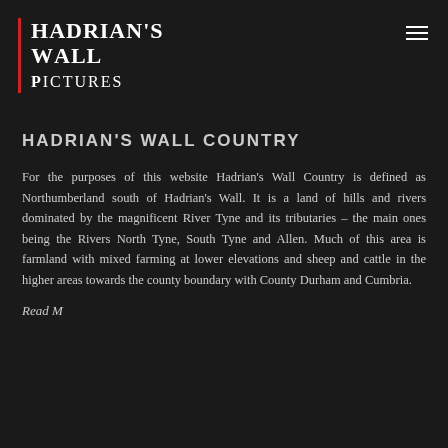Hadrian's Wall Pictures
HADRIAN'S WALL COUNTRY
For the purposes of this website Hadrian's Wall Country is defined as Northumberland south of Hadrian's Wall. It is a land of hills and rivers dominated by the magnificent River Tyne and its tributaries – the main ones being the Rivers North Tyne, South Tyne and Allen. Much of this area is farmland with mixed farming at lower elevations and sheep and cattle in the higher areas towards the county boundary with County Durham and Cumbria.
Read M…